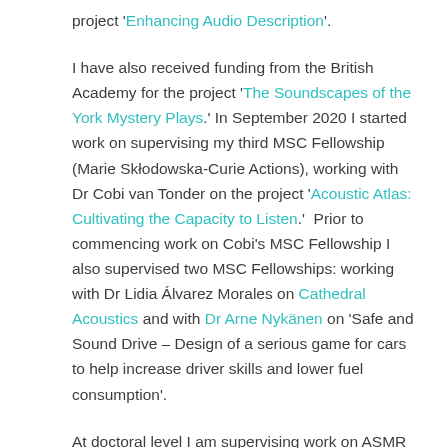project 'Enhancing Audio Description'.
I have also received funding from the British Academy for the project 'The Soundscapes of the York Mystery Plays.' In September 2020 I started work on supervising my third MSC Fellowship (Marie Skłodowska-Curie Actions), working with Dr Cobi van Tonder on the project 'Acoustic Atlas: Cultivating the Capacity to Listen.'  Prior to commencing work on Cobi's MSC Fellowship I also supervised two MSC Fellowships: working with Dr Lidia Álvarez Morales on Cathedral Acoustics and with Dr Arne Nykänen on 'Safe and Sound Drive – Design of a serious game for cars to help increase driver skills and lower fuel consumption'.
At doctoral level I am supervising work on ASMR and mental health; Audio Description of gestures; Audio